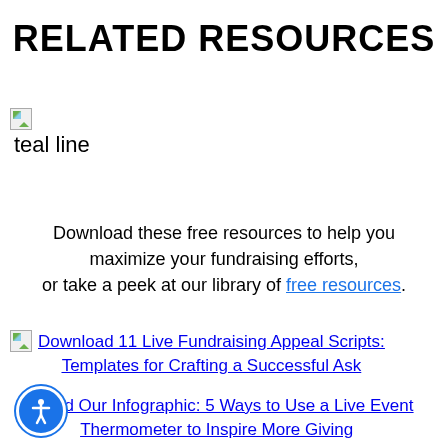RELATED RESOURCES
[Figure (illustration): Broken image placeholder with teal line label]
Download these free resources to help you maximize your fundraising efforts, or take a peek at our library of free resources.
Download 11 Live Fundraising Appeal Scripts: Templates for Crafting a Successful Ask
Download Our Infographic: 5 Ways to Use a Live Event Thermometer to Inspire More Giving